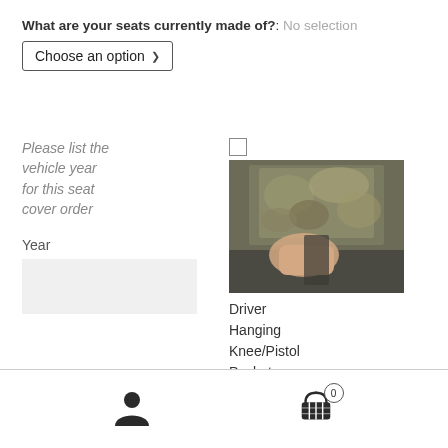What are your seats currently made of?: No selection
Choose an option
Please list the vehicle year for this seat cover order
Year
[Figure (photo): Photo of a vehicle seat cover product showing textured fabric pattern]
Driver Hanging Knee/Pistol Pocket ($19.00)
[Figure (other): Bottom navigation bar with person/user icon and shopping cart icon with badge showing 0]